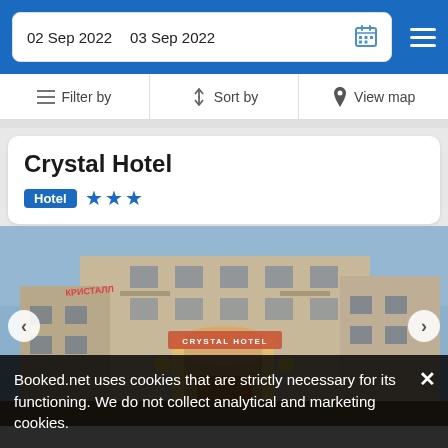02 Sep 2022   03 Sep 2022
Filter by   Sort by   View map
Crystal Hotel
Hotel ★★★
[Figure (photo): Exterior photo of Crystal Hotel building facade, lit with warm lights at night, showing multi-story stone building with entrance sign reading CRYSTAL HOTEL]
Booked.net uses cookies that are strictly necessary for its functioning. We do not collect analytical and marketing cookies.